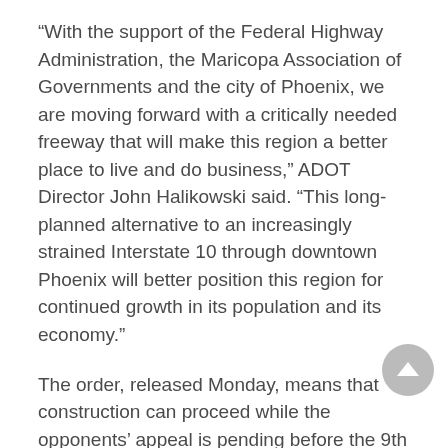“With the support of the Federal Highway Administration, the Maricopa Association of Governments and the city of Phoenix, we are moving forward with a critically needed freeway that will make this region a better place to live and do business,” ADOT Director John Halikowski said. “This long-planned alternative to an increasingly strained Interstate 10 through downtown Phoenix will better position this region for continued growth in its population and its economy.”
The order, released Monday, means that construction can proceed while the opponents’ appeal is pending before the 9th Circuit in San Francisco.
In October, the U.S. District Court in Phoenix denied the plaintiffs’ motion for an injunction, saying, in part, that they are unlikely to prevail on appeal. That followed the court’s August ruling granting the motions for summary judgment by the Federal Highway Administration and ADOT, concluding that the agencies complied with federal law in moving forward